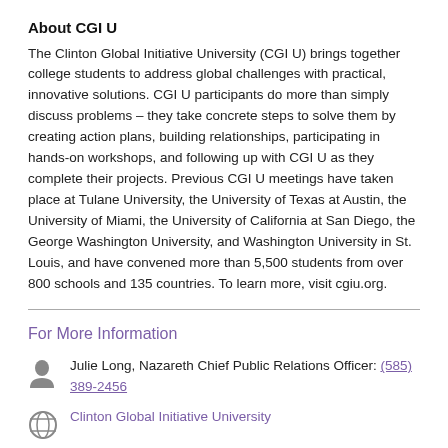About CGI U
The Clinton Global Initiative University (CGI U) brings together college students to address global challenges with practical, innovative solutions. CGI U participants do more than simply discuss problems – they take concrete steps to solve them by creating action plans, building relationships, participating in hands-on workshops, and following up with CGI U as they complete their projects. Previous CGI U meetings have taken place at Tulane University, the University of Texas at Austin, the University of Miami, the University of California at San Diego, the George Washington University, and Washington University in St. Louis, and have convened more than 5,500 students from over 800 schools and 135 countries. To learn more, visit cgiu.org.
For More Information
Julie Long, Nazareth Chief Public Relations Officer: (585) 389-2456
Clinton Global Initiative University